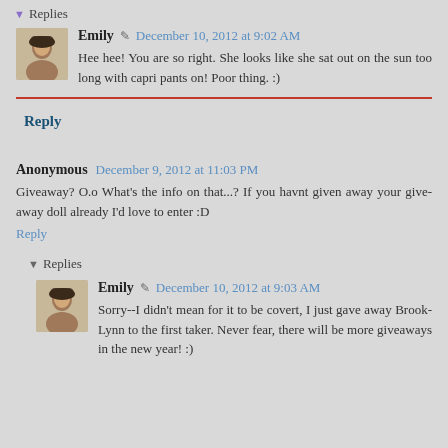▼ Replies
Emily • December 10, 2012 at 9:02 AM
Hee hee! You are so right. She looks like she sat out on the sun too long with capri pants on! Poor thing. :)
Reply
Anonymous December 9, 2012 at 11:03 PM
Giveaway? O.o What's the info on that...? If you havnt given away your give-away doll already I'd love to enter :D
Reply
▼ Replies
Emily • December 10, 2012 at 9:03 AM
Sorry--I didn't mean for it to be covert, I just gave away Brook-Lynn to the first taker. Never fear, there will be more giveaways in the new year! :)